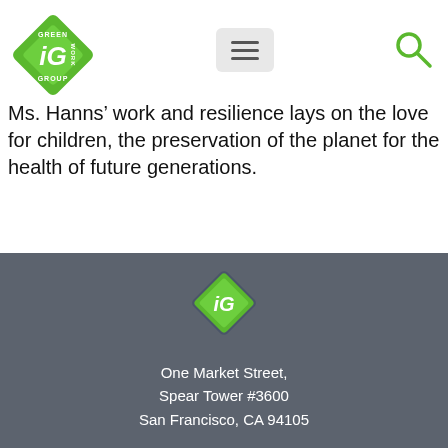[Figure (logo): iGreen Work Group diamond-shaped green logo with 'iG' text, top-left header]
[Figure (other): Hamburger menu button (three horizontal lines) in rounded rectangle]
[Figure (other): Search/magnifying glass icon, green outline]
Ms. Hanns’ work and resilience lays on the love for children, the preservation of the planet for the health of future generations.
[Figure (logo): iGreen Work Group diamond-shaped logo in footer, white/green on dark background]
One Market Street,
Spear Tower #3600
San Francisco, CA 94105
[Figure (other): Three social media icon buttons: Facebook, Instagram, YouTube — white rounded rectangles with green icons]